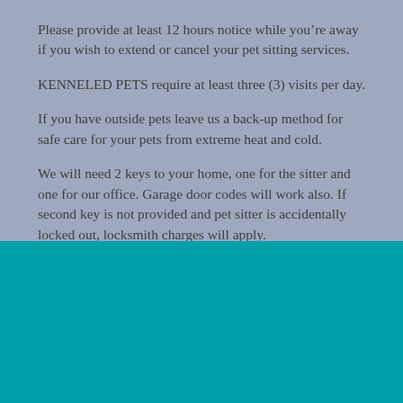Please provide at least 12 hours notice while you’re away if you wish to extend or cancel your pet sitting services.
KENNELED PETS require at least three (3) visits per day.
If you have outside pets leave us a back-up method for safe care for your pets from extreme heat and cold.
We will need 2 keys to your home, one for the sitter and one for our office. Garage door codes will work also. If second key is not provided and pet sitter is accidentally locked out, locksmith charges will apply.